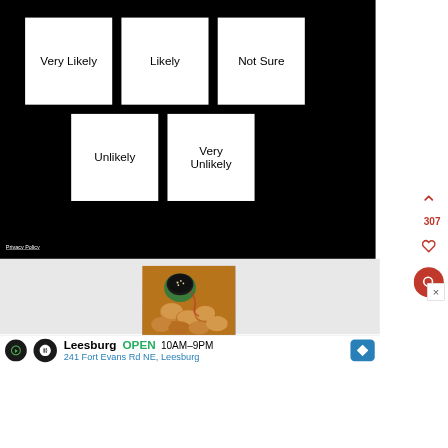[Figure (screenshot): Survey interface with five response options on black background: 'Very Likely', 'Likely', 'Not Sure', 'Unlikely', 'Very Unlikely' as white boxes]
Privacy Policy
307
[Figure (photo): Food photo showing fried chicken pieces with a small bowl of dark dipping sauce]
Leesburg OPEN 10AM–9PM 241 Fort Evans Rd NE, Leesburg